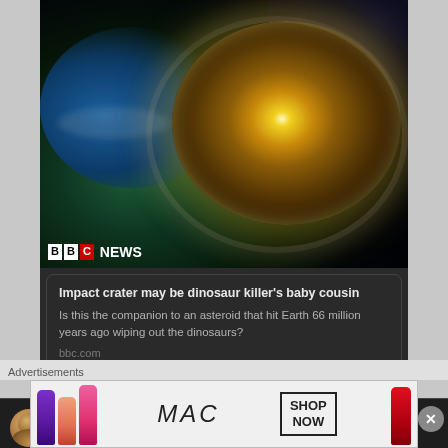[Figure (screenshot): BBC News tweet with image of an asteroid impact crater on Earth from space, showing the globe with a large impact crater and explosion with BBC NEWS logo overlay]
Impact crater may be dinosaur killer's baby cousin
Is this the companion to an asteroid that hit Earth 66 million years ago wiping out the dinosaurs?
bbc.com
16h
Belfast Child - John Chambers
@bfchild66
Here's a program about Belfast Mods which I feature in
Advertisements
[Figure (photo): MAC cosmetics advertisement showing lipsticks in various colors (purple, coral, pink) and MAC logo text with SHOP NOW button and red lipstick on right side]